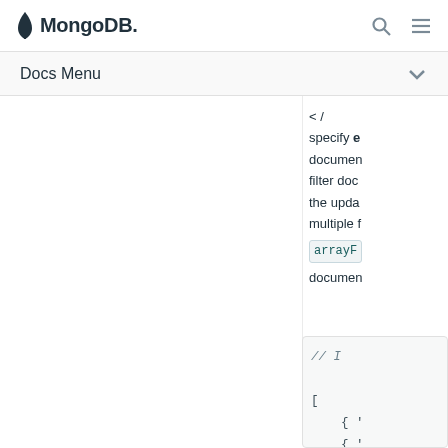MongoDB
Docs Menu
specify e document filter doc the upda multiple t arrayF~ documen
// I
[
  { '
  { '
]